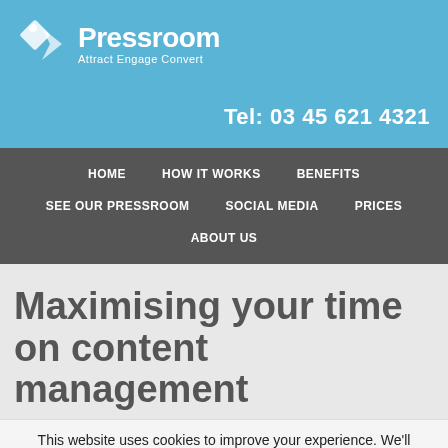[Figure (logo): Pressroom logo with diamond/arrow icon and text 'Pressroom Attract Engage Convert' on blue background]
Tel: 03 45 621 4321
HOME   HOW IT WORKS   BENEFITS   SEE OUR PRESSROOM   SOCIAL MEDIA   PRICES   ABOUT US
Maximising your time on content management
This website uses cookies to improve your experience. We'll assume you're ok with this, but you can opt-out if you wish. Accept